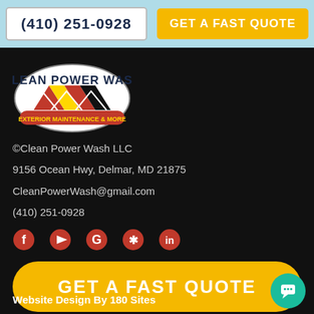(410) 251-0928
GET A FAST QUOTE
[Figure (logo): Clean Power Wash LLC logo - oval shape with house/mountain silhouettes and Maryland flag colors]
©Clean Power Wash LLC
9156 Ocean Hwy, Delmar, MD 21875
CleanPowerWash@gmail.com
(410) 251-0928
[Figure (infographic): Social media icons row: Facebook, YouTube, Google, Yelp, LinkedIn - all in red]
GET A FAST QUOTE
Website Design By 180 Sites